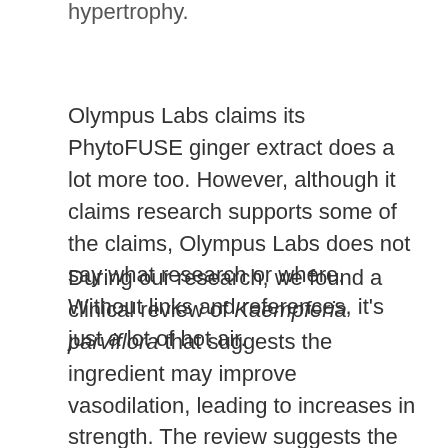hypertrophy.
Olympus Labs claims its PhytoFUSE ginger extract does a lot more too. However, although it claims research supports some of the claims, Olympus Labs does not say what research or where. Without links and references, it’s just a lot of hot air.
During our research, we found a clinical review of Kaempferia parviflora that suggests the ingredient may improve vasodilation, leading to increases in strength. The review suggests the ingredient may have potential in other areas too. However, the researchers say there is a need for further study. (https://www.ncbi.nlm.nih.gov/pmc/articles/PMC5871153/)